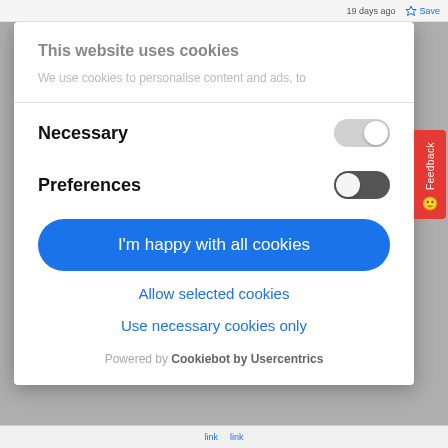19 days ago   Save
This website uses cookies
We use cookies to personalise content and ads, to
Necessary
Preferences
I'm happy with all cookies
Allow selected cookies
Use necessary cookies only
Powered by Cookiebot by Usercentrics